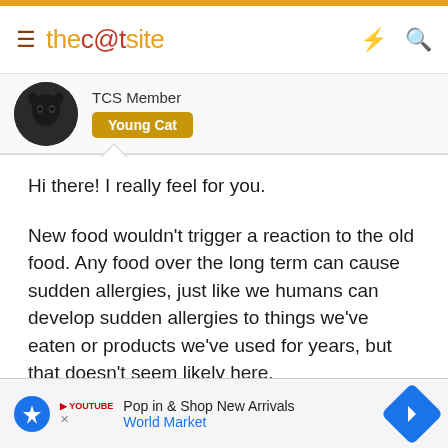thecatsite
TCS Member
Young Cat
Hi there! I really feel for you.
New food wouldn't trigger a reaction to the old food. Any food over the long term can cause sudden allergies, just like we humans can develop sudden allergies to things we've eaten or products we've used for years, but that doesn't seem likely here.
It's possible your kitty has a very very sensitive stomach. It's usually recommended to change to a new food over the co... of... unt of the ne... hiddle of th...
Pop in & Shop New Arrivals World Market